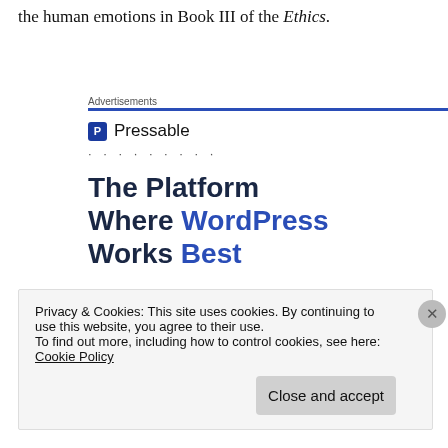the human emotions in Book III of the Ethics.
Advertisements
[Figure (other): Pressable advertisement banner with logo, dots, and headline text 'The Platform Where WordPress Works Best']
Privacy & Cookies: This site uses cookies. By continuing to use this website, you agree to their use.
To find out more, including how to control cookies, see here: Cookie Policy